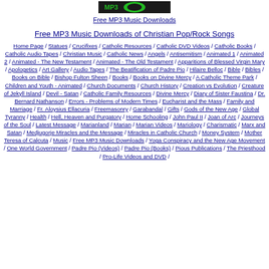[Figure (logo): Dark background logo with green graphic element]
Free MP3 Music Downloads
Free MP3 Music Downloads of Christian Pop/Rock Songs
Home Page / Statues / Crucifixes / Catholic Resources / Catholic DVD Videos / Catholic Books / Catholic Audio Tapes / Christian Music / Catholic News / Angels / Antisemitism / Animated 1 / Animated 2 / Animated - The New Testament / Animated - The Old Testament / Apparitions of Blessed Virgin Mary / Apologetics / Art Gallery / Audio Tapes / The Beatification of Padre Pio / Hilaire Belloc / Bible / Bibles / Books on Bible / Bishop Fulton Sheen / Books / Books on Divine Mercy / A Catholic Theme Park / Children and Youth - Animated / Church Documents / Church History / Creation vs Evolution / Creature of Jekyll Island / Devil - Satan / Catholic Family Resources / Divine Mercy / Diary of Sister Faustina / Dr. Bernard Nathanson / Errors - Problems of Modern Times / Eucharist and the Mass / Family and Marriage / Fr. Aloysius Ellacuria / Freemasonry / Garabandal / Gifts / Gods of the New Age / Global Tyranny / Health / Hell, Heaven and Purgatory / Home Schooling / John Paul II / Joan of Arc / Journeys of the Soul / Latest Message / Marianland / Marian / Marian Videos / Mariology / Charismatic / Marx and Satan / Medjugorje Miracles and the Message / Miracles in Catholic Church / Money System / Mother Teresa of Calcuta / Music / Free MP3 Music Downloads / Yoga Conspiracy and the New Age Movement / One World Government / Padre Pio (Videos) / Padre Pio (Books) / Pious Publications / The Priesthood / Pro-Life Videos and DVD / ...